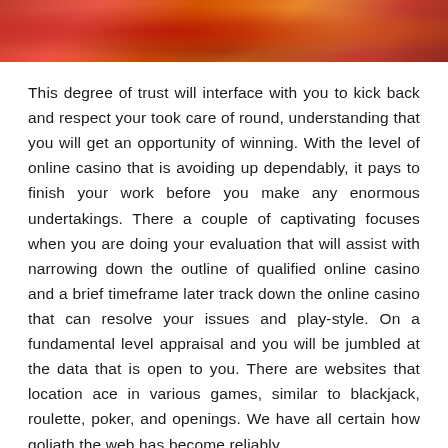[Figure (photo): Cropped photo of casino roulette table or similar casino scene with red and orange tones]
This degree of trust will interface with you to kick back and respect your took care of round, understanding that you will get an opportunity of winning. With the level of online casino that is avoiding up dependably, it pays to finish your work before you make any enormous undertakings. There a couple of captivating focuses when you are doing your evaluation that will assist with narrowing down the outline of qualified online casino and a brief timeframe later track down the online casino that can resolve your issues and play-style. On a fundamental level appraisal and you will be jumbled at the data that is open to you. There are websites that location ace in various games, similar to blackjack, roulette, poker, and openings. We have all certain how goliath the web has become reliably.